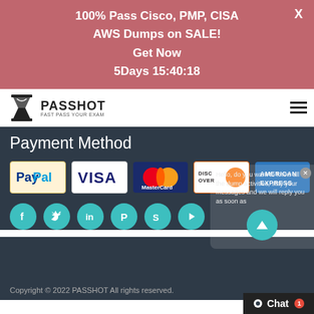100% Pass Cisco, PMP, CISA AWS Dumps on SALE! Get Now 5Days 15:40:18
[Figure (logo): Passhot logo with hourglass icon and text PASSHOT FAST PASS YOUR EXAM]
Payment Method
[Figure (infographic): Row of payment method logos: PayPal, VISA, MasterCard, Discover, American Express]
[Figure (infographic): Row of social media icon circles: Facebook, Twitter, LinkedIn, Pinterest, Skype, YouTube]
Copyright © 2022 PASSHOT All rights reserved.